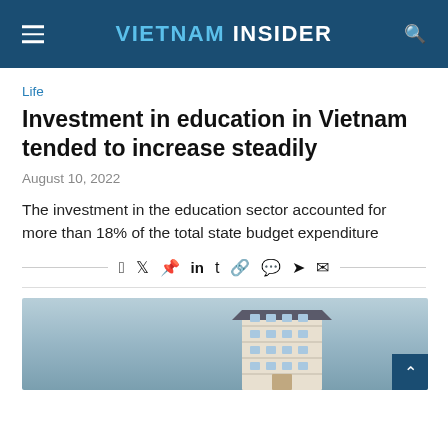VIETNAM INSIDER
Life
Investment in education in Vietnam tended to increase steadily
August 10, 2022
The investment in the education sector accounted for more than 18% of the total state budget expenditure
[Figure (photo): Photograph of a multi-story building (school or university) against a blue sky]